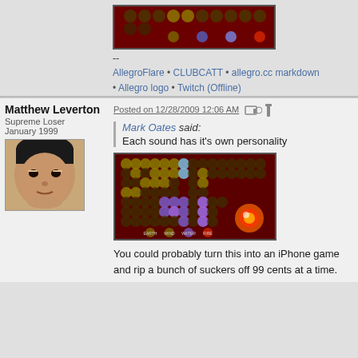[Figure (screenshot): Game screenshot with dark red background showing circular game elements]
--
AllegroFlare • CLUBCATT • allegro.cc markdown • Allegro logo • Twitch (Offline)
Matthew Leverton
Supreme Loser
January 1999
[Figure (photo): Avatar photo of a 3D rendered male character face]
Posted on 12/28/2009 12:06 AM
Mark Oates said: Each sound has it's own personality
[Figure (screenshot): Game screenshot showing grid of circular game elements on dark red background with colored orbs]
You could probably turn this into an iPhone game and rip a bunch of suckers off 99 cents at a time.